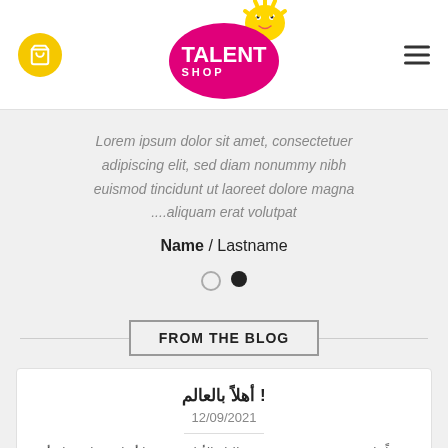[Figure (logo): Talent Shop logo: yellow starfish character on pink oval with white text, yellow cart icon button on left, hamburger menu on right]
Lorem ipsum dolor sit amet, consectetuer adipiscing elit, sed diam nonummy nibh euismod tincidunt ut laoreet dolore magna ....aliquam erat volutpat
Name / Lastname
FROM THE BLOG
أهلاً بالعالم !
12/09/2021
مرحباً بك في ووردبريس. هذه مقالتك الأولى. حرّرها أو احذفها، ثم ابدأ النشر! [...]